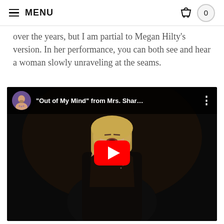MENU | 0
over the years, but I am partial to Megan Hilty's version. In her performance, you can both see and hear a woman slowly unraveling at the seams.
[Figure (screenshot): YouTube video thumbnail showing a blonde woman singing into a microphone on a dark stage, with video title '"Out of My Mind" from Mrs. Shar...' and a channel avatar of a man in a patterned shirt. A red YouTube play button is overlaid in the center.]